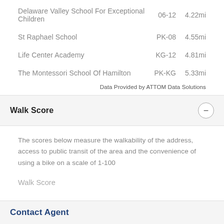Delaware Valley School For Exceptional Children	06-12	4.22mi
St Raphael School	PK-08	4.55mi
Life Center Academy	KG-12	4.81mi
The Montessori School Of Hamilton	PK-KG	5.33mi
Data Provided by ATTOM Data Solutions
Walk Score
The scores below measure the walkability of the address, access to public transit of the area and the convenience of using a bike on a scale of 1-100
Walk Score
Contact Agent